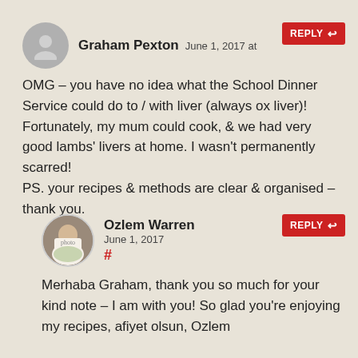Graham Pexton June 1, 2017 at [time] REPLY
OMG – you have no idea what the School Dinner Service could do to / with liver (always ox liver)! Fortunately, my mum could cook, & we had very good lambs' livers at home. I wasn't permanently scarred! PS. your recipes & methods are clear & organised – thank you.
Ozlem Warren June 1, 2017 # REPLY
Merhaba Graham, thank you so much for your kind note – I am with you! So glad you're enjoying my recipes, afiyet olsun, Ozlem